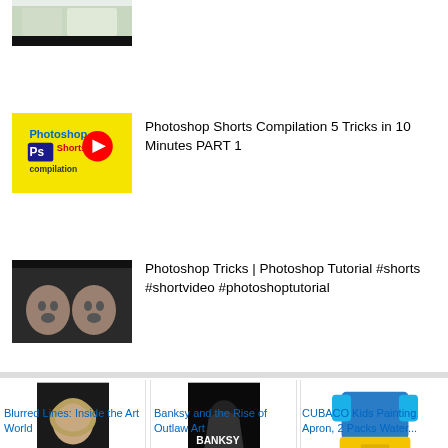[Figure (screenshot): Partial thumbnail of a video at the top, cropped, with black bars top and bottom]
[Figure (screenshot): Photoshop Shorts Compilation thumbnail: yellow background with Photoshop logo and red Shorts logo]
Photoshop Shorts Compilation 5 Tricks in 10 Minutes PART 1
[Figure (screenshot): Thumbnail of two men with surprised expressions on dark background, black bar at top]
Photoshop Tricks | Photoshop Tutorial #shorts #shortvideo #photoshoptutorial
[Figure (photo): Blurred Lines: Inside the Art World movie poster - woman with snake]
Blurred Lines: Inside the Art World
[Figure (photo): Banksy and the Rise of Outlaw Art movie poster - hooded figure]
Banksy and the Rise of Outlaw Art
[Figure (photo): CUBACO Kids Painting Apron, blue and yellow]
CUBACO Kids Painting Apron, 2 Packs Water...